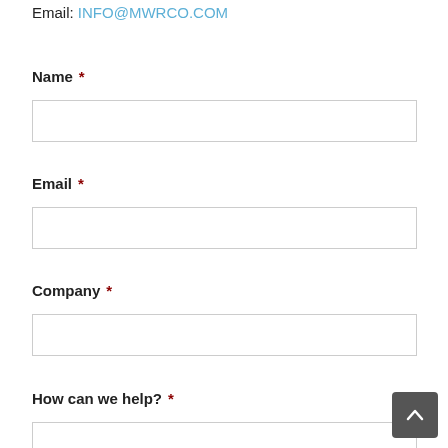Email: INFO@MWRCO.COM
Name *
Email *
Company *
How can we help? *